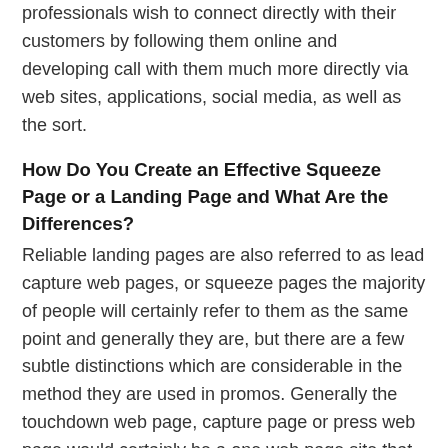professionals wish to connect directly with their customers by following them online and developing call with them much more directly via web sites, applications, social media, as well as the sort.
How Do You Create an Effective Squeeze Page or a Landing Page and What Are the Differences?
Reliable landing pages are also referred to as lead capture web pages, or squeeze pages the majority of people will certainly refer to them as the same point and generally they are, but there are a few subtle distinctions which are considerable in the method they are used in promos. Generally the touchdown web page, capture page or press web page would certainly be a one web page site that is designed to gather call information from the potential customer for item, possibility or service most likely the main difference would